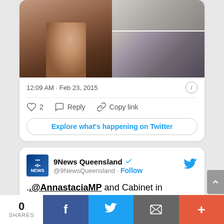[Figure (screenshot): Top portion of a Twitter tweet card showing two photos side by side: left photo of a man and woman in an office, right photos of a meeting room with people seated at a table]
12:09 AM · Feb 23, 2015
♡ 2   Reply   Copy link
Explore what's happening on Twitter
[Figure (screenshot): Twitter card for 9News Queensland (@9NewsQueensland) with Follow button and blue Twitter bird logo]
9News Queensland @9NewsQueensland · Follow
.@AnnastaciaMP and Cabinet in spacious new digs, while @LNPQLD shadow Cabinet crammed into small
0 SHARES
f
[Figure (screenshot): Twitter bird share icon]
[Figure (screenshot): Email share icon]
+